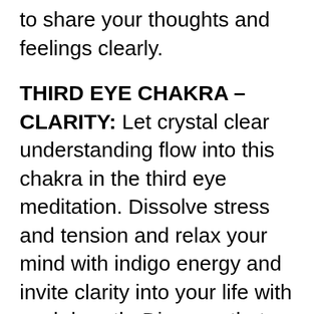to share your thoughts and feelings clearly.
THIRD EYE CHAKRA – CLARITY: Let crystal clear understanding flow into this chakra in the third eye meditation. Dissolve stress and tension and relax your mind with indigo energy and invite clarity into your life with each breath. Discover that being in the present moment is your true nature. Improve mindfulness and enjoy deep knowing.
CROWN CHAKRA – WISDOM: Open to a new dimension of understanding of complete self in this meditation. Release limiting beliefs and [continues]